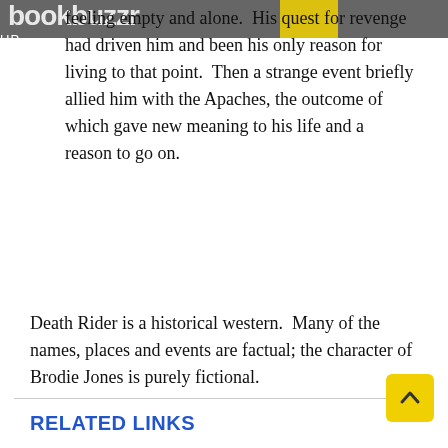bookbuzzr UP
feeling empty and alone.  His quest for revenge had driven him and been his only reason for living to that point.  Then a strange event briefly allied him with the Apaches, the outcome of which gave new meaning to his life and a reason to go on.
Death Rider is a historical western.  Many of the names, places and events are factual; the character of Brodie Jones is purely fictional.
RELATED LINKS